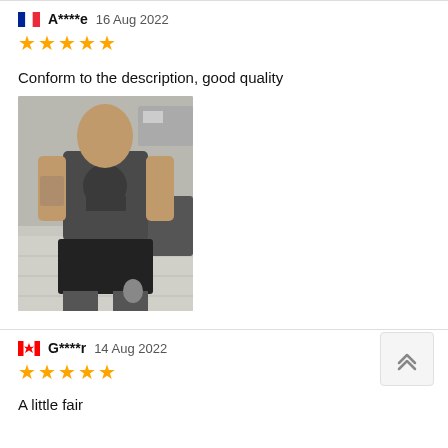A****e  16 Aug 2022  ★★★★★
Conform to the description, good quality
[Figure (photo): Photo of a person wearing a dark grey compression shirt with a skull graphic and black shorts, standing indoors.]
G****r  14 Aug 2022  ★★★★★
A little fair